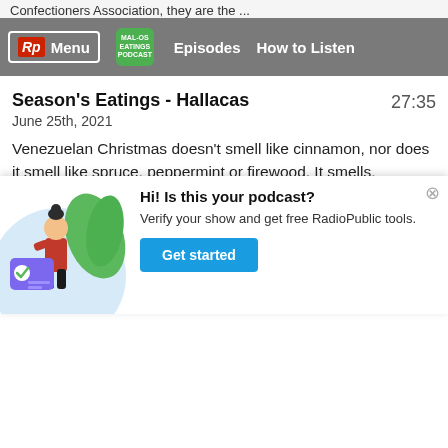Confectioners Association, they are the ...
Menu | Episodes | How to Listen
Season's Eatings - Hallacas
June 25th, 2021
27:35
Venezuelan Christmas doesn't smell like cinnamon, nor does it smell like spruce, peppermint or firewood. It smells, predominantly, like plantain ...
Seasons' Eatings - Sowans
May 20th, 2021
26:14
It's our one year anniversary!  We have some special
[Figure (illustration): Illustration of a woman holding a verification card with a checkmark, with green leaves in background, on a light blue circular background. Part of a popup card promoting podcast verification.]
Hi! Is this your podcast? Verify your show and get free RadioPublic tools. Get started